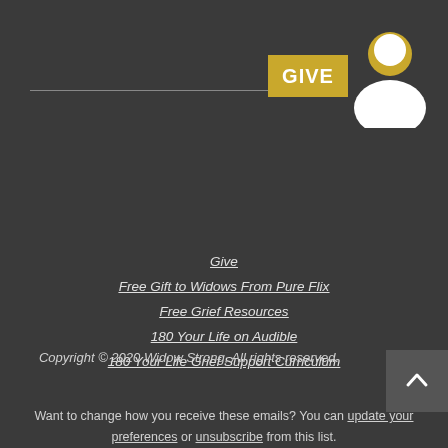[Figure (illustration): A golden/yellow 'GIVE' button and a white user avatar silhouette icon on dark background, with a horizontal gray line to the left]
Give
Free Gift to Widows From Pure Flix
Free Grief Resources
180 Your Life on Audible
180 Your Life Grief Support Curriculum
Copyright © 2020 Widow Strong, All rights reserved.
Want to change how you receive these emails? You can update your preferences or unsubscribe from this list.